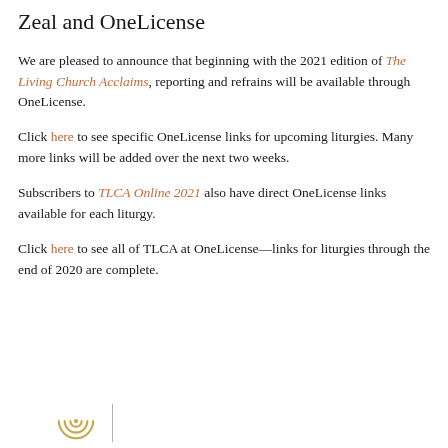Zeal and OneLicense
We are pleased to announce that beginning with the 2021 edition of The Living Church Acclaims, reporting and refrains will be available through OneLicense.
Click here to see specific OneLicense links for upcoming liturgies. Many more links will be added over the next two weeks.
Subscribers to TLCA Online 2021 also have direct OneLicense links available for each liturgy.
Click here to see all of TLCA at OneLicense—links for liturgies through the end of 2020 are complete.
[Figure (logo): Circular logo graphic with gold/brown concentric arc lines, followed by a vertical divider line]